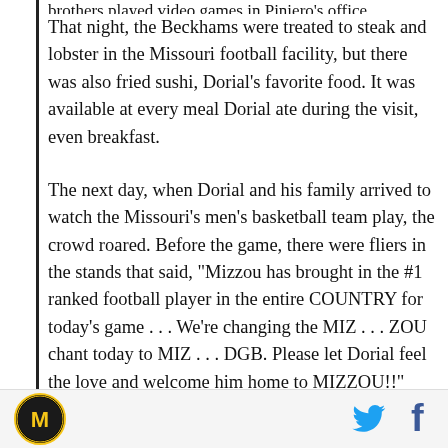brothers played video games in Piniero's office.
That night, the Beckhams were treated to steak and lobster in the Missouri football facility, but there was also fried sushi, Dorial's favorite food. It was available at every meal Dorial ate during the visit, even breakfast.
The next day, when Dorial and his family arrived to watch the Missouri's men's basketball team play, the crowd roared. Before the game, there were fliers in the stands that said, "Mizzou has brought in the #1 ranked football player in the entire COUNTRY for today's game . . . We're changing the MIZ . . . ZOU chant today to MIZ . . . DGB. Please let Dorial feel the love and welcome him home to MIZZOU!!"
[Figure (logo): Missouri Tigers circular logo with gold M on black background]
[Figure (logo): Twitter bird icon in blue]
[Figure (logo): Facebook f icon in dark blue]